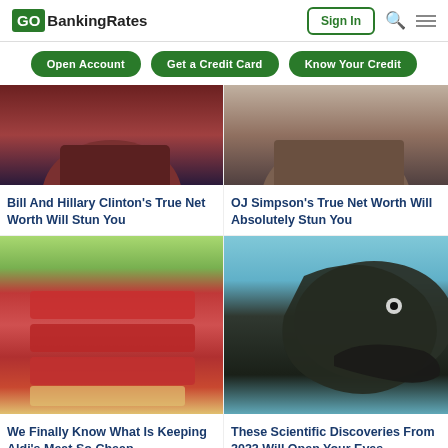GOBankingRates | Sign In
Open Account | Get a Credit Card | Know Your Credit
[Figure (photo): Partial photo of a woman in red clothing, cropped at neck]
Bill And Hillary Clinton's True Net Worth Will Stun You
[Figure (photo): Partial photo of a man, cropped at neck/chin level]
OJ Simpson's True Net Worth Will Absolutely Stun You
[Figure (photo): Stack of raw red meat slices on a cutting board with green background]
We Finally Know What Is Keeping Aldi's Meat So Cheap
[Figure (photo): Close-up of a dinosaur or reptile head with open mouth, dark scaled skin, against light blue background]
These Scientific Discoveries From 2022 Will Open Your Eyes